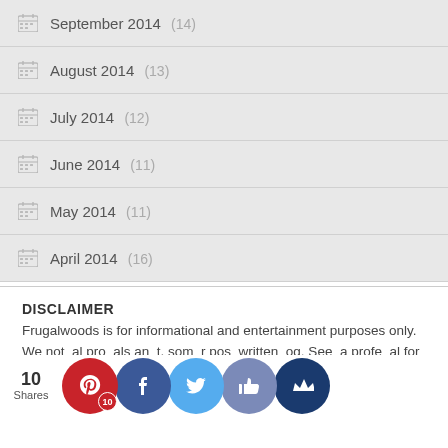September 2014 (14)
August 2014 (13)
July 2014 (12)
June 2014 (11)
May 2014 (11)
April 2014 (16)
DISCLAIMER
Frugalwoods is for informational and entertainment purposes only. We not al pro als an t, som r pos written og. See a profe al for fi advice.